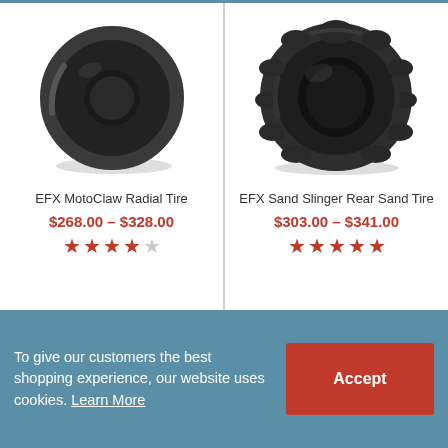[Figure (photo): EFX MotoClaw Radial Tire product photo — dark knobby off-road ATV tire]
EFX MotoClaw Radial Tire
$268.00 – $328.00
★★★★☆ (4 out of 5 stars)
[Figure (photo): EFX Sand Slinger Rear Sand Tire product photo — wide smooth paddle-style ATV sand tire]
EFX Sand Slinger Rear Sand Tire
$303.00 – $341.00
★★★★★ (5 out of 5 stars)
To give our customers the best shopping experience, our website uses cookies. Learn More